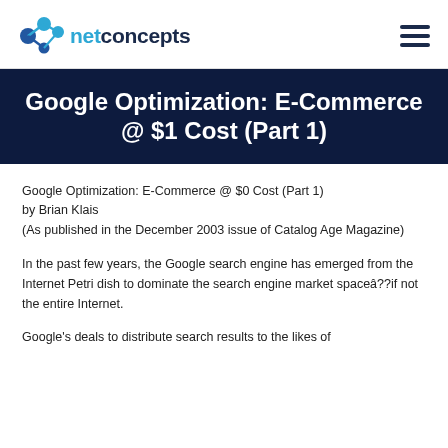netconcepts
Google Optimization: E-Commerce @ $1 Cost (Part 1)
Google Optimization: E-Commerce @ $0 Cost (Part 1)
by Brian Klais
(As published in the December 2003 issue of Catalog Age Magazine)
In the past few years, the Google search engine has emerged from the Internet Petri dish to dominate the search engine market spaceâ??if not the entire Internet.
Google's deals to distribute search results to the likes of